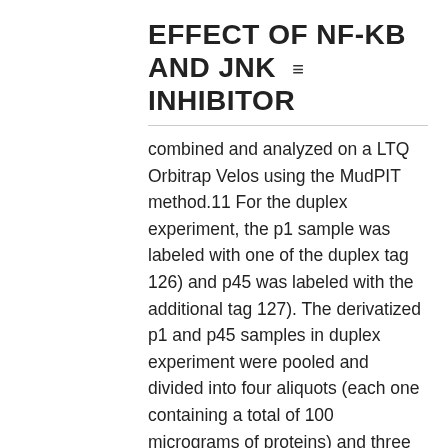EFFECT OF NF-KB AND JNK INHIBITOR
combined and analyzed on a LTQ Orbitrap Velos using the MudPIT method.11 For the duplex experiment, the p1 sample was labeled with one of the duplex tag 126) and p45 was labeled with the additional tag 127). The derivatized p1 and p45 samples in duplex experiment were pooled and divided into four aliquots (each one containing a total of 100 micrograms of proteins) and three were used for MudPIT analysis, therefore providing three technical replicates. The p45/p1 quantitative profile of proteins generally observed in the sixplex and duplex